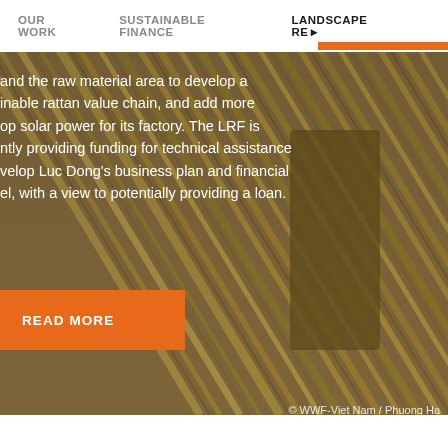OUR WORK   SUSTAINABLE FINANCE   LANDSCAPE RE►
[Figure (photo): Close-up photograph of bundled rattan stalks, tan/brown colored, tightly packed]
and the raw material area to develop a inable rattan value chain, and add more op solar power for its factory. The LRF is ntly providing funding for technical assistance velop Luc Dong’s business plan and financial el, with a view to potentially providing a loan.
READ MORE
© WWF-Viet Nam / Phuong Ha